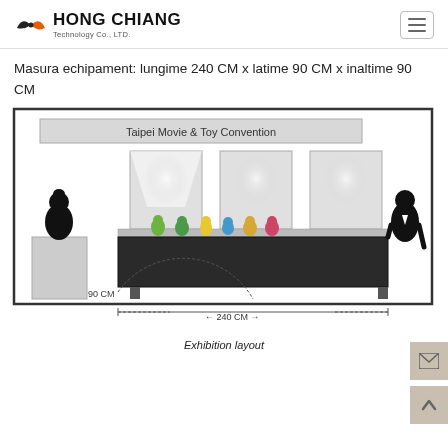HONG CHIANG Technology Co., LTD.
Masura echipament: lungime 240 CM x latime 90 CM x inaltime 90 CM
[Figure (engineering-diagram): Exhibition layout diagram showing a display counter (240 CM wide, 90 CM tall) with toy figurines on top, three backlit panels behind, a standing person on each side, and a sign reading 'Taipei Movie & Toy Convention'. Dimension annotations: 90 CM height and 240 CM width.]
Exhibition layout